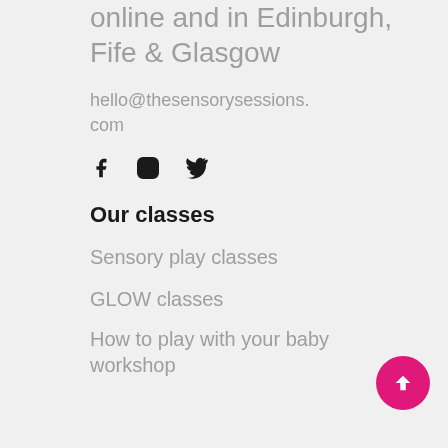online and in Edinburgh, Fife & Glasgow
hello@thesensorysessions.com
[Figure (illustration): Social media icons: Facebook, Instagram, Twitter]
Our classes
Sensory play classes
GLOW classes
How to play with your baby workshop